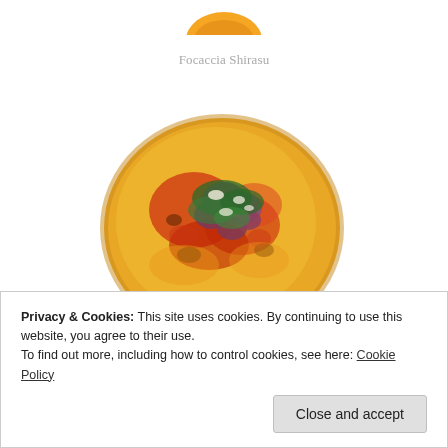[Figure (photo): Partial image of a food item cropped at the top of the page, showing an orange-colored round bread/cookie partially visible at the top edge.]
Focaccia Shirasu
[Figure (photo): A round focaccia bread topped with tomato sauce, herbs (parsley), octopus or mushrooms, and cheese, baked with a golden-orange crust.]
Privacy & Cookies: This site uses cookies. By continuing to use this website, you agree to their use.
To find out more, including how to control cookies, see here: Cookie Policy
Close and accept